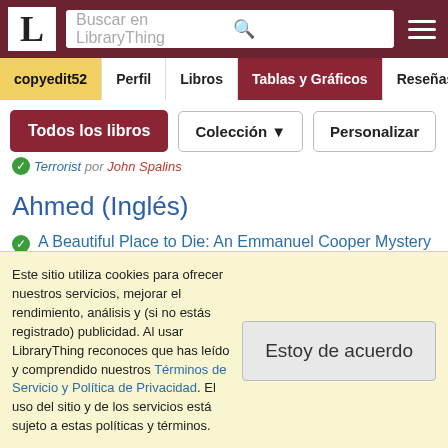LibraryThing - Buscar en LibraryThing
copyedit52 | Perfil | Libros | Tablas y Gráficos | Reseñas
Todos los libros | Colección | Personalizar
Terrorist por John Spalins
Ahmed (Inglés)
A Beautiful Place to Die: An Emmanuel Cooper Mystery por Malla Nunn
Este sitio utiliza cookies para ofrecer nuestros servicios, mejorar el rendimiento, análisis y (si no estás registrado) publicidad. Al usar LibraryThing reconoces que has leído y comprendido nuestros Términos de Servicio y Política de Privacidad. El uso del sitio y de los servicios está sujeto a estas políticas y términos.